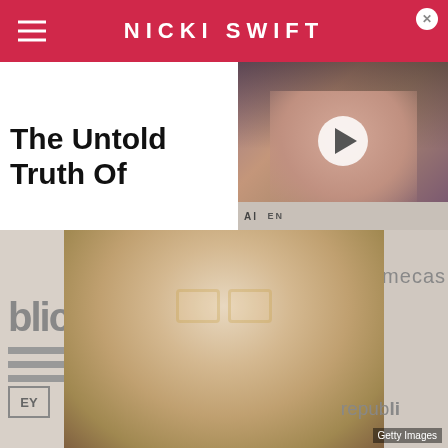NICKI SWIFT
[Figure (photo): Video thumbnail showing a woman with dark curly hair wearing round sunglasses and hoop earrings, with a play button overlay]
The Untold Truth Of
[Figure (photo): Main photo of a young man with braided hair, gold-rimmed glasses, gold grillz teeth, and a beard, smiling at camera at a Republic Records event. Background shows 'republic' and 'Chromecast' signage. Getty Images watermark in bottom right.]